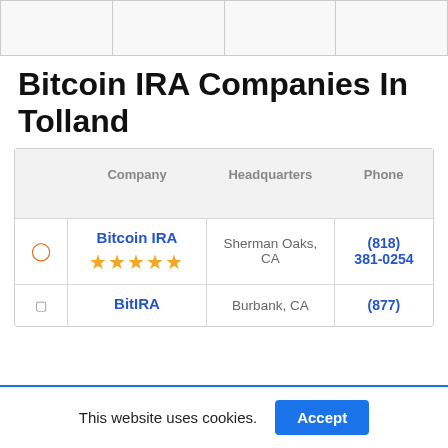|  |  |  |  |
Bitcoin IRA Companies In Tolland
|  | Company | Headquarters | Phone |
| --- | --- | --- | --- |
|  | Bitcoin IRA ★★★★★ | Sherman Oaks, CA | (818) 381-0254 |
|  | BitIRA | Burbank, CA | (877) |
This website uses cookies.